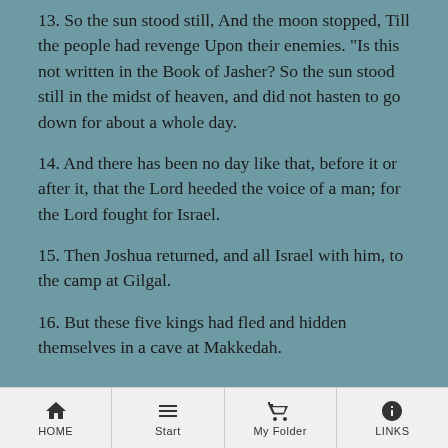13. So the sun stood still, And the moon stopped, Till the people had revenge Upon their enemies. "Is this not written in the Book of Jasher? So the sun stood still in the midst of heaven, and did not hasten to go down for about a whole day.
14. And there has been no day like that, before it or after it, that the Lord heeded the voice of a man; for the Lord fought for Israel.
15. Then Joshua returned, and all Israel with him, to the camp at Gilgal.
16. But these five kings had fled and hidden themselves in a cave at Makkedah.
HOME | Start | My Folder | LINKS